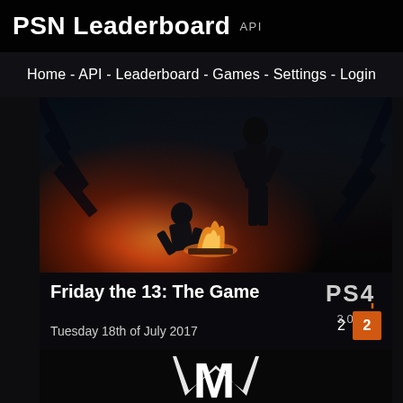PSN Leaderboard API
Home - API - Leaderboard - Games - Settings - Login
[Figure (screenshot): Friday the 13: The Game cover art showing dark forest scene with campfire and figures]
Friday the 13: The Game
3.03%
Tuesday 18th of July 2017
2  2
[Figure (screenshot): Second game card showing dark background with stylized M logo in white]